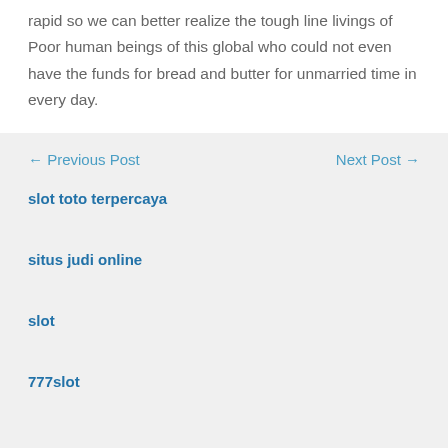rapid so we can better realize the tough line livings of Poor human beings of this global who could not even have the funds for bread and butter for unmarried time in every day.
← Previous Post    Next Post →
slot toto terpercaya
situs judi online
slot
777slot